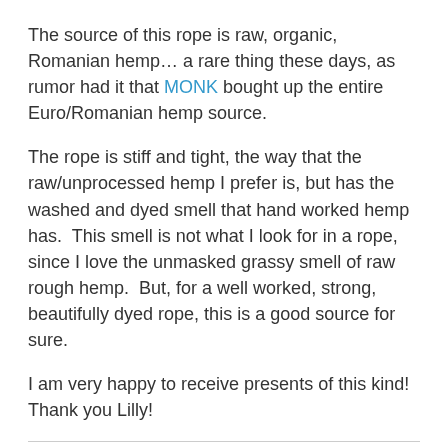The source of this rope is raw, organic, Romanian hemp… a rare thing these days, as rumor had it that MONK bought up the entire Euro/Romanian hemp source.
The rope is stiff and tight, the way that the raw/unprocessed hemp I prefer is, but has the washed and dyed smell that hand worked hemp has.  This smell is not what I look for in a rope, since I love the unmasked grassy smell of raw rough hemp.  But, for a well worked, strong, beautifully dyed rope, this is a good source for sure.
I am very happy to receive presents of this kind!  Thank you Lilly!
Share this: